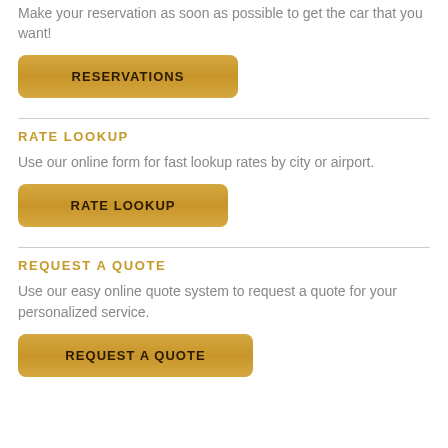Make your reservation as soon as possible to get the car that you want!
[Figure (other): Gold gradient button labeled RESERVATIONS]
RATE LOOKUP
Use our online form for fast lookup rates by city or airport.
[Figure (other): Gold gradient button labeled RATE LOOKUP]
REQUEST A QUOTE
Use our easy online quote system to request a quote for your personalized service.
[Figure (other): Gold gradient button labeled REQUEST A QUOTE]